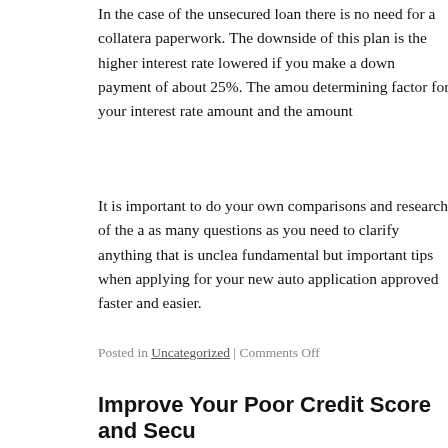In the case of the unsecured loan there is no need for a collateral or paperwork. The downside of this plan is the higher interest rate lowered if you make a down payment of about 25%. The amount determining factor for your interest rate amount and the amount
It is important to do your own comparisons and research of the as many questions as you need to clarify anything that is unclear fundamental but important tips when applying for your new auto application approved faster and easier.
Posted in Uncategorized | Comments Off
Improve Your Poor Credit Score and Secu
So you are thinking of getting some extra money to make some needs replacing, along with a new hot water system. Unfortunately the bank, but neither do you have a secure porch door or any co
However you consider these problems? A lot of people have been